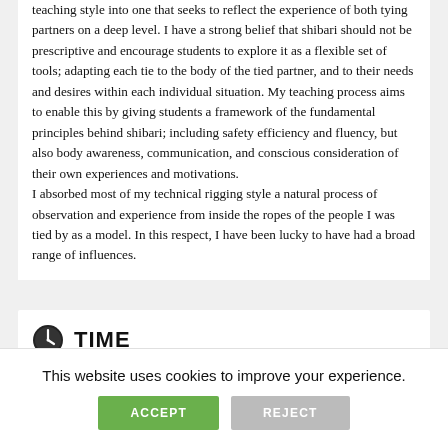teaching style into one that seeks to reflect the experience of both tying partners on a deep level. I have a strong belief that shibari should not be prescriptive and encourage students to explore it as a flexible set of tools; adapting each tie to the body of the tied partner, and to their needs and desires within each individual situation. My teaching process aims to enable this by giving students a framework of the fundamental principles behind shibari; including safety efficiency and fluency, but also body awareness, communication, and conscious consideration of their own experiences and motivations.
I absorbed most of my technical rigging style a natural process of observation and experience from inside the ropes of the people I was tied by as a model. In this respect, I have been lucky to have had a broad range of influences.
TIME
This website uses cookies to improve your experience.